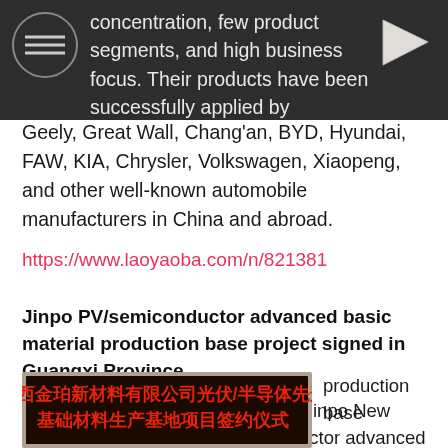concentration, few product segments, and high business focus. Their products have been successfully applied by Geely, Great Wall, Chang'an, BYD, Hyundai, FAW, KIA, Chrysler, Volkswagen, Xiaopeng, and other well-known automobile manufacturers in China and abroad.
https://www.laoyaoba.com/n/821381
Jinpo PV/semiconductor advanced basic material production base project signed in Guangxi Province.
The signing ceremony of Guangxi Jinpo New Materials Co., Ltd.'s PV/semiconductor advanced basic material production base
[Figure (photo): LED sign board showing Chinese text: 广西金珀新材料有限公司光伏/半导体先进基础材料生产基地项目签约仪式]